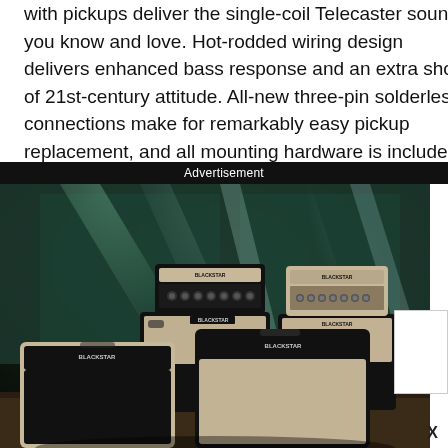with pickups deliver the single-coil Telecaster sound you know and love. Hot-rodded wiring design delivers enhanced bass response and an extra shot of 21st-century attitude. All-new three-pin solderless connections make for remarkably easy pickup replacement, and all mounting hardware is included.
Advertisement
[Figure (photo): Advertisement photo showing multiple Blackstar guitar amplifiers (amp heads and combos) in black and beige/cream tolex, arranged on a stage with dramatic green and white stage lighting beams in the background.]